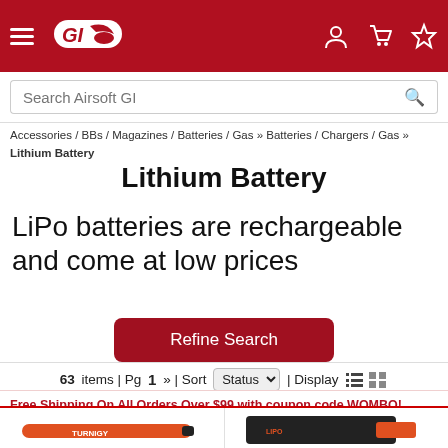Airsoft GI — navigation header with hamburger menu, logo, user/cart/wishlist icons, and search bar
Accessories / BBs / Magazines / Batteries / Gas » Batteries / Chargers / Gas » Lithium Battery
Lithium Battery
LiPo batteries are rechargeable and come at low prices
Refine Search
63 items | Pg 1 » | Sort Status | Display
Free Shipping On All Orders Over $99 with coupon code WOMBO!
[Figure (photo): Two product images partially visible at bottom: a thin cylindrical LiPo battery on left and a flat pack LiPo battery on right]